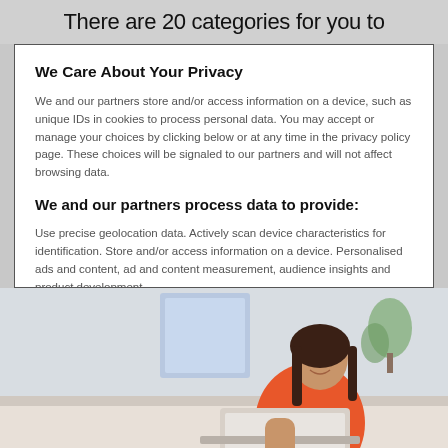There are 20 categories for you to
We Care About Your Privacy
We and our partners store and/or access information on a device, such as unique IDs in cookies to process personal data. You may accept or manage your choices by clicking below or at any time in the privacy policy page. These choices will be signaled to our partners and will not affect browsing data.
We and our partners process data to provide:
Use precise geolocation data. Actively scan device characteristics for identification. Store and/or access information on a device. Personalised ads and content, ad and content measurement, audience insights and product development.
List of Partners (vendors)
[Figure (photo): Woman in orange top sitting on couch with laptop, smiling]